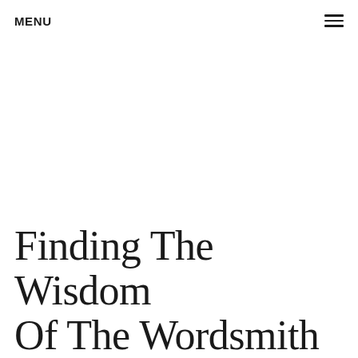MENU
Finding The Wisdom Of The Wordsmith